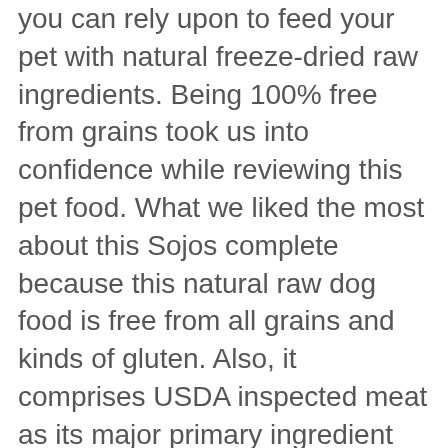you can rely upon to feed your pet with natural freeze-dried raw ingredients. Being 100% free from grains took us into confidence while reviewing this pet food. What we liked the most about this Sojos complete because this natural raw dog food is free from all grains and kinds of gluten. Also, it comprises USDA inspected meat as its major primary ingredient that gave us a sigh of relief. This easy to serve recipe does not call for much effort. Just add a little water, and it’s ready to serve in just 15 mins.
This 0.25 pounds affordable raw dog food is manufactured in a facility that processes